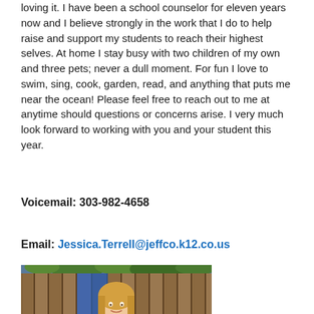loving it. I have been a school counselor for eleven years now and I believe strongly in the work that I do to help raise and support my students to reach their highest selves. At home I stay busy with two children of my own and three pets; never a dull moment. For fun I love to swim, sing, cook, garden, read, and anything that puts me near the ocean! Please feel free to reach out to me at anytime should questions or concerns arise. I very much look forward to working with you and your student this year.
Voicemail: 303-982-4658
Email: Jessica.Terrell@jeffco.k12.co.us
[Figure (photo): Portrait photo of a smiling woman with long blonde hair, standing in front of a wooden fence with greenery visible above.]